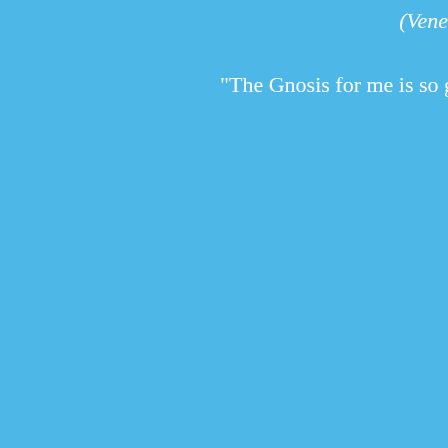(Vene
"The Gnosis for me is so great be